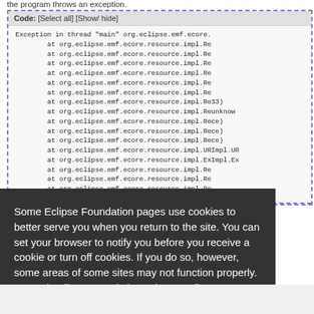the program throws an exception.
[Figure (screenshot): Code block showing a Java stack trace exception in thread main for org.eclipse.emf.ecore resource impl classes. Toolbar shows Code: [Select all] [Show/ hide] options. The code block has a dashed blue border.]
Some Eclipse Foundation pages use cookies to better serve you when you return to the site. You can set your browser to notify you before you receive a cookie or turn off cookies. If you do so, however, some areas of some sites may not function properly. To read Eclipse Foundation Privacy Policy
click here.
Decline
Allow cookies